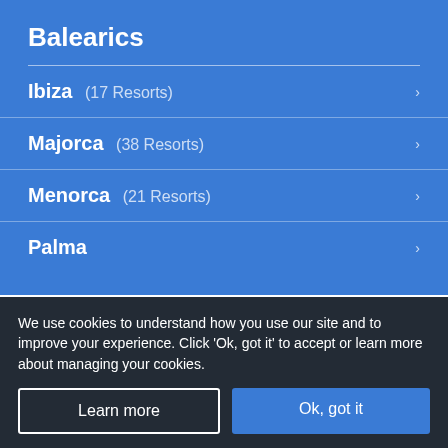Balearics
Ibiza (17 Resorts)
Majorca (38 Resorts)
Menorca (21 Resorts)
Palma
Bulgaria
We use cookies to understand how you use our site and to improve your experience. Click 'Ok, got it' to accept or learn more about managing your cookies.
Learn more
Ok, got it